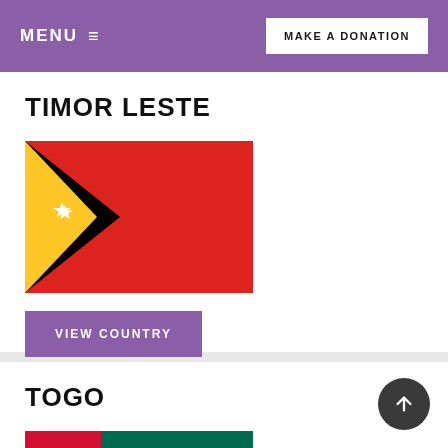MENU  ≡   MAKE A DONATION
TIMOR LESTE
[Figure (illustration): Flag of Timor-Leste: black triangle on the left with a yellow triangle inside it and a white star, over a red background.]
VIEW COUNTRY
TOGO
[Figure (illustration): Flag of Togo: red square with white star on the left, with alternating green and yellow horizontal stripes on the right.]